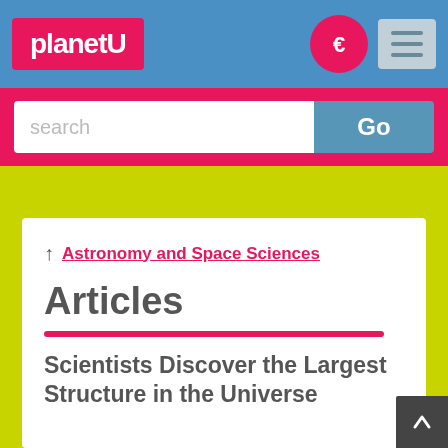planetU
search
Go
↑ Astronomy and Space Sciences
Articles
Scientists Discover the Largest Structure in the Universe